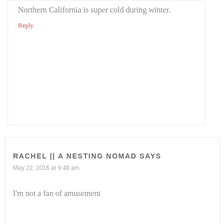Northern California is super cold during winter.
Reply
RACHEL || A NESTING NOMAD SAYS
May 22, 2016 at 9:46 am
I'm not a fan of amusement